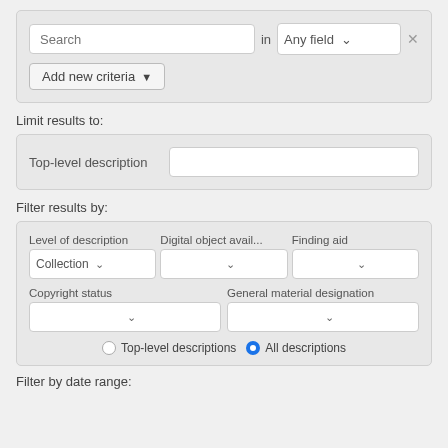[Figure (screenshot): Search panel with a search input field, 'in' label, 'Any field' dropdown, an X button, and an 'Add new criteria' dropdown button.]
Limit results to:
[Figure (screenshot): Limit results panel with 'Top-level description' label and an empty text input field.]
Filter results by:
[Figure (screenshot): Filter results panel with dropdowns for Level of description (Collection), Digital object avail..., Finding aid, Copyright status, General material designation, and radio buttons for Top-level descriptions and All descriptions (selected).]
Filter by date range: